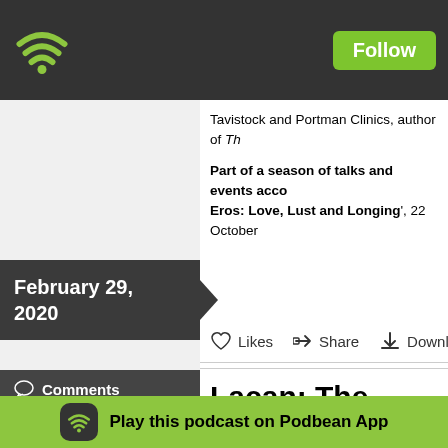Follow
Tavistock and Portman Clinics, author of Th
Part of a season of talks and events acco Eros: Love, Lust and Longing', 22 October
Likes   Share   Download
Lacan: The Uncon Reinvented
Colette Soler, joined by Darian Leader
Lacan's work is often caricatured as arcane, co rged continually ctice. If you h here is a chance to see what the fuss is about
February 29, 2020
Comments
in DefaultTag, Freud, Psychoanalysis, lacan
Play this podcast on Podbean App